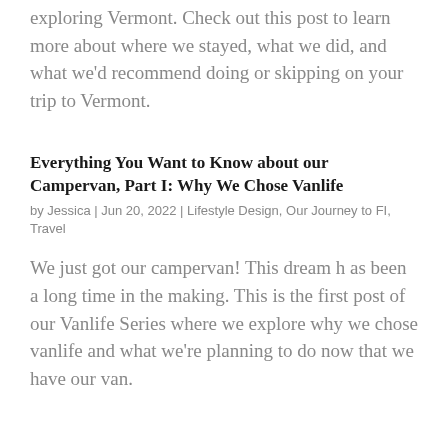exploring Vermont. Check out this post to learn more about where we stayed, what we did, and what we'd recommend doing or skipping on your trip to Vermont.
Everything You Want to Know about our Campervan, Part I: Why We Chose Vanlife
by Jessica | Jun 20, 2022 | Lifestyle Design, Our Journey to FI, Travel
We just got our campervan! This dream h as been a long time in the making. This is the first post of our Vanlife Series where we explore why we chose vanlife and what we're planning to do now that we have our van.